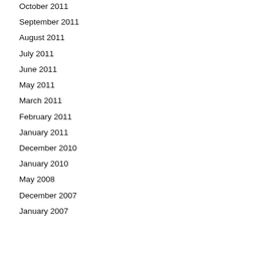October 2011
September 2011
August 2011
July 2011
June 2011
May 2011
March 2011
February 2011
January 2011
December 2010
January 2010
May 2008
December 2007
January 2007